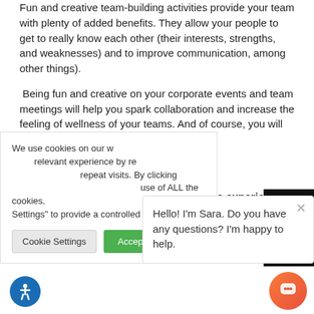Fun and creative team-building activities provide your team with plenty of added benefits. They allow your people to get to really know each other (their interests, strengths, and weaknesses)  and to improve communication, among other things).
Being fun and creative on your corporate events and team meetings will help you spark collaboration and increase the feeling of wellness of your teams. And of course, you will love to see them smile.
At IMG we love creating fun and unique experiences out of corporate events and meetings; let us help! We can help you bring your vision to life!
We use cookies on our w... relevant experience by re... repeat visits. By clicking ... use of ALL the cookies. ... Settings" to provide a controlled consent.
Hello! I'm Sara. Do you have any questions? I'm happy to help.